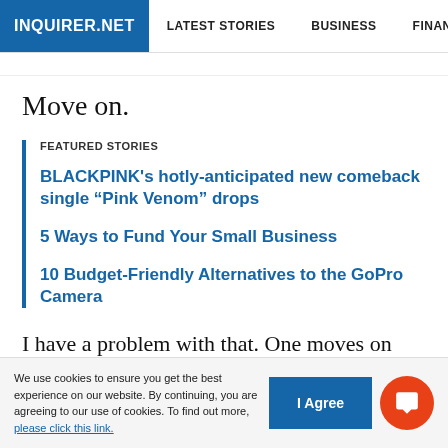INQUIRER.NET  LATEST STORIES  BUSINESS  FINANCE  TECHNOLO
Move on.
FEATURED STORIES
BLACKPINK's hotly-anticipated new comeback single “Pink Venom” drops
5 Ways to Fund Your Small Business
10 Budget-Friendly Alternatives to the GoPro Camera
I have a problem with that. One moves on when one has resolved something, a situation, a problem, to one’s
We use cookies to ensure you get the best experience on our website. By continuing, you are agreeing to our use of cookies. To find out more, please click this link.